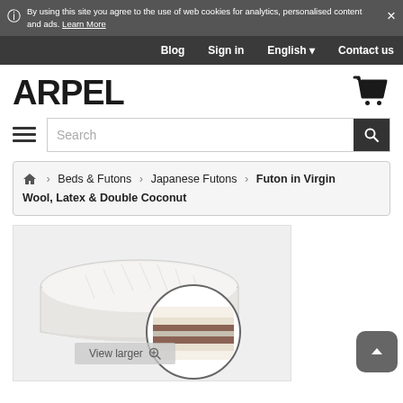By using this site you agree to the use of web cookies for analytics, personalised content and ads. Learn More
Blog  Sign in  English  Contact us
ARPEL
Search
Beds & Futons > Japanese Futons > Futon in Virgin Wool, Latex & Double Coconut
[Figure (photo): A white Japanese futon mattress shown from an angle, with a circular zoom inset showing the internal layered construction including wool, latex and coconut layers. An overlay button reads 'View larger'.]